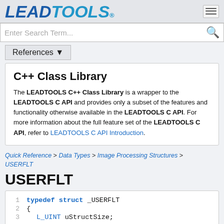LEADTOOLS
Enter Search Term...
References ▼
C++ Class Library
The LEADTOOLS C++ Class Library is a wrapper to the LEADTOOLS C API and provides only a subset of the features and functionality otherwise available in the LEADTOOLS C API. For more information about the full feature set of the LEADTOOLS C API, refer to LEADTOOLS C API Introduction.
Quick Reference > Data Types > Image Processing Structures > USERFLT
USERFLT
typedef struct _USERFLT
{
    L_UINT uStructSize;